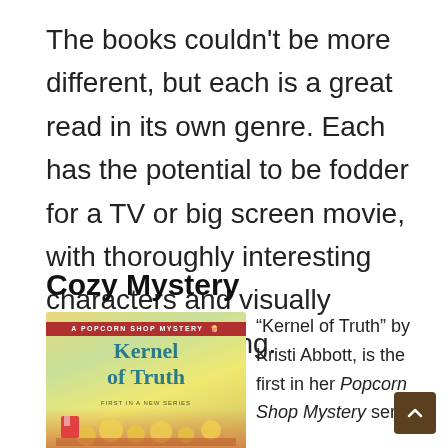The books couldn't be more different, but each is a great read in its own genre. Each has the potential to be fodder for a TV or big screen movie, with thoroughly interesting characters and visually descriptive writing.
Cozy Mystery
[Figure (illustration): Book cover of 'Kernel of Truth' — A Popcorn Shop Mystery. First in a New Series by Kristi Abbott. Cover shows colorful carnival/popcorn shop scene.]
“Kernel of Truth” by Kristi Abbott, is the first in her Popcorn Shop Mystery series